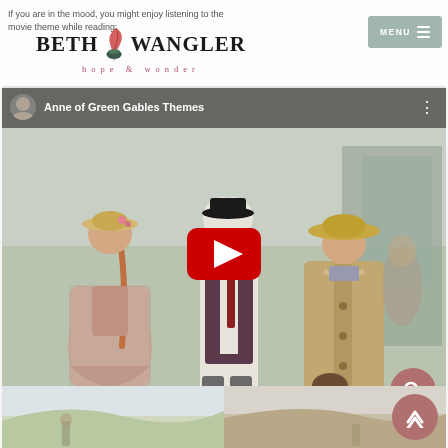If you are in the mood, you might enjoy listening to the movie theme while reading:
[Figure (logo): Beth Wangler logo with quill pen and inkwell, subtitle 'hope & wonder']
[Figure (screenshot): YouTube video embed showing Anne of Green Gables Themes, with a still frame of actors in period costume on a street scene. A young woman in a pink plaid dress and straw hat faces an older man in a dark vest and an older woman in a tan coat. A red YouTube play button overlay is visible in the center.]
[Figure (photo): Partial screenshot of a bottom thumbnail strip showing a landscape or outdoor scene, partially visible at the bottom of the page.]